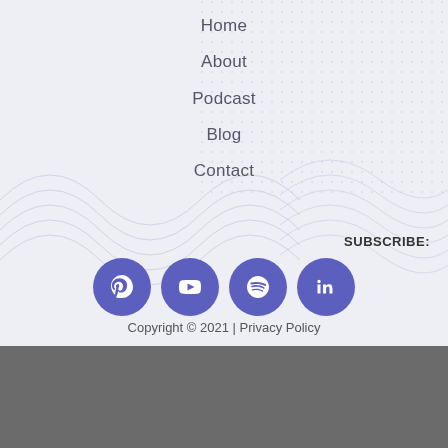Home
About
Podcast
Blog
Contact
SUBSCRIBE:
[Figure (logo): Four social media icon circles: Apple Podcasts, YouTube, Spotify, LinkedIn]
Copyright © 2021 | Privacy Policy
Creating Marketing Strategies for Premium Luxury Brands
MARKETING